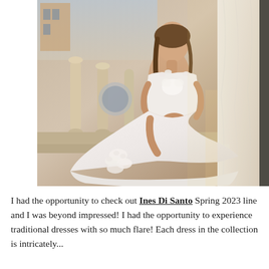[Figure (photo): A woman in a white lace wedding dress with floral appliqués sits gracefully near a window with sheer curtains. Stone balustrade columns are visible in the background. The dress features delicate floral lace detailing on the bodice and hem.]
I had the opportunity to check out Ines Di Santo Spring 2023 line and I was beyond impressed! I had the opportunity to experience traditional dresses with so much flare! Each dress in the collection is intricately...